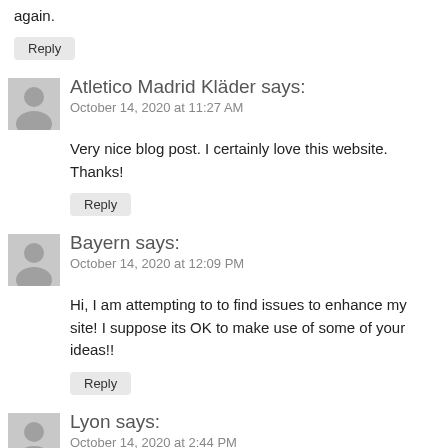… you will definitely come back again.
Reply
Atletico Madrid Kläder says:
October 14, 2020 at 11:27 AM
Very nice blog post. I certainly love this website. Thanks!
Reply
Bayern says:
October 14, 2020 at 12:09 PM
Hi, I am attempting to to find issues to enhance my site! I suppose its OK to make use of some of your ideas!!
Reply
Lyon says:
October 14, 2020 at 2:44 PM